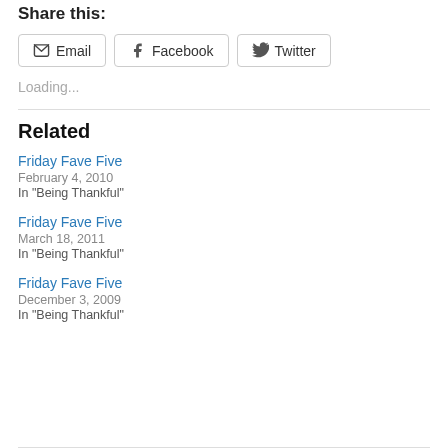Share this:
Email  Facebook  Twitter
Loading...
Related
Friday Fave Five
February 4, 2010
In "Being Thankful"
Friday Fave Five
March 18, 2011
In "Being Thankful"
Friday Fave Five
December 3, 2009
In "Being Thankful"